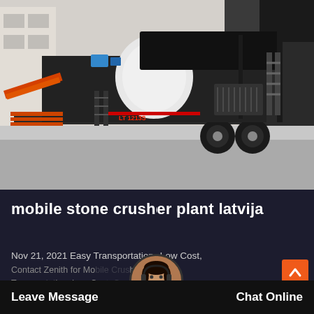[Figure (photo): Mobile stone crusher plant on a truck trailer, parked in an industrial yard. The machine is large, dark grey/black with white components, featuring a jaw crusher and conveyor belt. Orange steel structures visible on the left side.]
mobile stone crusher plant latvija
Nov 21, 2021 Easy Transportation, Low Cost,
Contact Zenith for Mobile Crusher! Easy Transportation, Low Cost, Contact Zenith for...
Leave Message
Chat Online